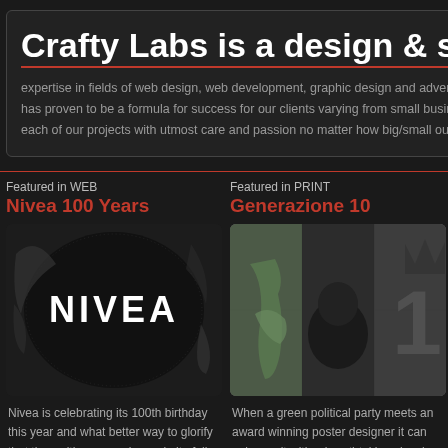Crafty Labs is a design & software
expertise in fields of web design, web development, graphic design and advertising. has proven to be a formula for success for our clients varying from small business. each of our projects with utmost care and passion no matter how big/small our clients.
Featured in WEB
Nivea 100 Years
Featured in PRINT
Generazione 10
[Figure (photo): Nivea brand logo on dark circular background with decorative art elements]
[Figure (photo): Generazione 10 print poster with green political imagery and decorative number 1]
Nivea is celebrating its 100th birthday this year and what better way to glorify that than with an amazing website full
When a green political party meets an award winning poster designer it can only result with a breathtaking visual